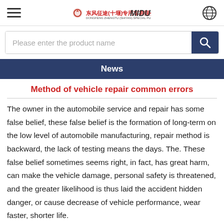东风征途(十堰)专用车有限公司 MIDU
Please enter the product name
News
Method of vehicle repair common errors
The owner in the automobile service and repair has some false belief, these false belief is the formation of long-term on the low level of automobile manufacturing, repair method is backward, the lack of testing means the days. The. These false belief sometimes seems right, in fact, has great harm, can make the vehicle damage, personal safety is threatened, and the greater likelihood is thus laid the accident hidden danger, or cause decrease of vehicle performance, wear faster, shorter life.
A blind, remove engine thermostat